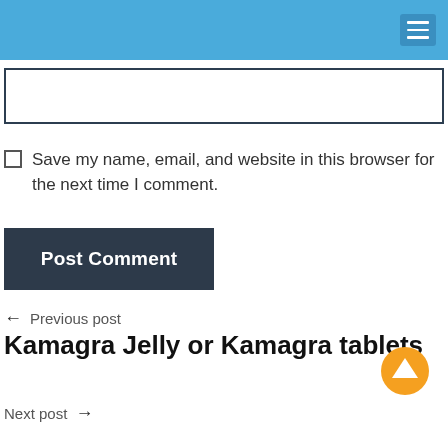Navigation header with hamburger menu
[Figure (other): Text input box / form field]
Save my name, email, and website in this browser for the next time I comment.
Post Comment
← Previous post
Kamagra Jelly or Kamagra tablets
Next post →